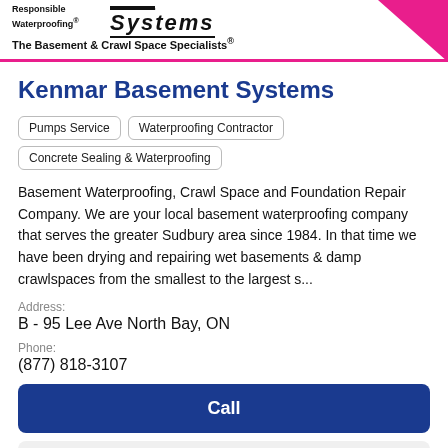[Figure (logo): Basement Systems logo with 'Responsible Waterproofing' text, 'Systems' in stylized italic font, pink diagonal stripe, and tagline 'The Basement & Crawl Space Specialists®']
Kenmar Basement Systems
Pumps Service
Waterproofing Contractor
Concrete Sealing & Waterproofing
Basement Waterproofing, Crawl Space and Foundation Repair Company. We are your local basement waterproofing company that serves the greater Sudbury area since 1984. In that time we have been drying and repairing wet basements & damp crawlspaces from the smallest to the largest s...
Address:
B - 95 Lee Ave North Bay, ON
Phone:
(877) 818-3107
Call
View Profile